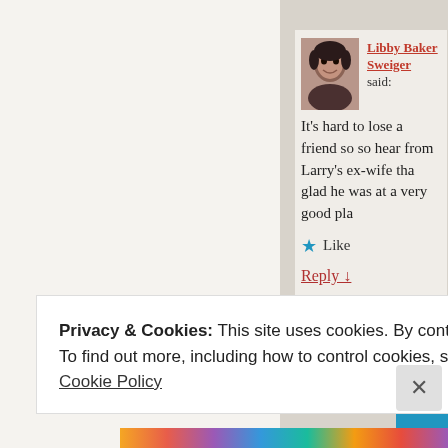Libby Baker Sweiger said:
It's hard to lose a friend so so hear from Larry's ex-wife tha glad he was at a very good pla
★ Like
Reply ↓
Privacy & Cookies: This site uses cookies. By continuing to use this website, you agree to their use.
To find out more, including how to control cookies, see here:
Cookie Policy
Close and accept